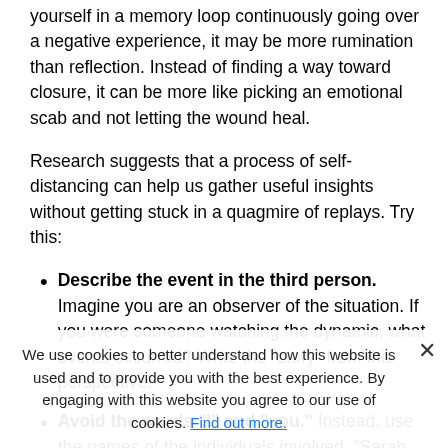yourself in a memory loop continuously going over a negative experience, it may be more rumination than reflection. Instead of finding a way toward closure, it can be more like picking an emotional scab and not letting the wound heal.
Research suggests that a process of self-distancing can help us gather useful insights without getting stuck in a quagmire of replays. Try this:
Describe the event in the third person. Imagine you are an observer of the situation. If you were someone watching the dynamic, what events occurred? Write the “story” from this perspective.
Avoid the words “I” and “you.” Instead, use the names of the individuals involved. “Sarah told Ba[partially obscured by cookie banner]”
We use cookies to better understand how this website is used and to provide you with the best experience. By engaging with this website you agree to our use of cookies. Find out more.